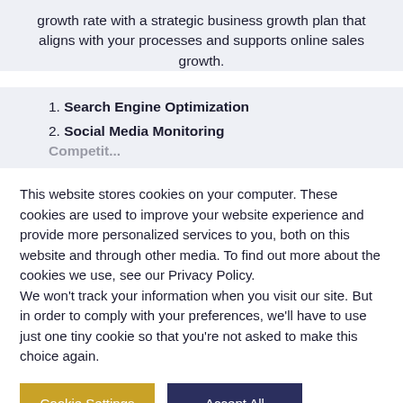growth rate with a strategic business growth plan that aligns with your processes and supports online sales growth.
1. Search Engine Optimization
2. Social Media Monitoring
This website stores cookies on your computer. These cookies are used to improve your website experience and provide more personalized services to you, both on this website and through other media. To find out more about the cookies we use, see our Privacy Policy.
We won't track your information when you visit our site. But in order to comply with your preferences, we'll have to use just one tiny cookie so that you're not asked to make this choice again.
Cookie Settings
Accept All